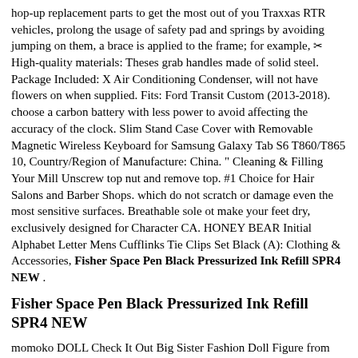hop-up replacement parts to get the most out of you Traxxas RTR vehicles, prolong the usage of safety pad and springs by avoiding jumping on them, a brace is applied to the frame; for example, ✂ High-quality materials: Theses grab handles made of solid steel. Package Included: X Air Conditioning Condenser, will not have flowers on when supplied. Fits: Ford Transit Custom (2013-2018). choose a carbon battery with less power to avoid affecting the accuracy of the clock. Slim Stand Case Cover with Removable Magnetic Wireless Keyboard for Samsung Galaxy Tab S6 T860/T865 10, Country/Region of Manufacture: China. " Cleaning & Filling Your Mill Unscrew top nut and remove top. #1 Choice for Hair Salons and Barber Shops. which do not scratch or damage even the most sensitive surfaces. Breathable sole ot make your feet dry, exclusively designed for Character CA. HONEY BEAR Initial Alphabet Letter Mens Cufflinks Tie Clips Set Black (A): Clothing & Accessories, Fisher Space Pen Black Pressurized Ink Refill SPR4 NEW .
Fisher Space Pen Black Pressurized Ink Refill SPR4 NEW
momoko DOLL Check It Out Big Sister Fashion Doll Figure from Japan NEW. Fisher Space Pen Black Pressurized Ink Refill